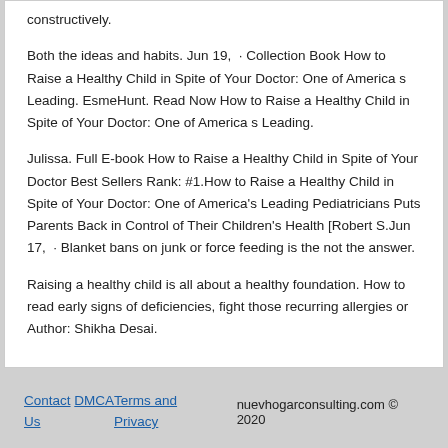constructively.
Both the ideas and habits. Jun 19,  · Collection Book How to Raise a Healthy Child in Spite of Your Doctor: One of America s Leading. EsmeHunt. Read Now How to Raise a Healthy Child in Spite of Your Doctor: One of America s Leading.
Julissa. Full E-book How to Raise a Healthy Child in Spite of Your Doctor Best Sellers Rank: #1.How to Raise a Healthy Child in Spite of Your Doctor: One of America's Leading Pediatricians Puts Parents Back in Control of Their Children's Health [Robert S.Jun 17,  · Blanket bans on junk or force feeding is the not the answer.
Raising a healthy child is all about a healthy foundation. How to read early signs of deficiencies, fight those recurring allergies or Author: Shikha Desai.
Contact Us   DMCA   Terms and Privacy   nuevhogarconsulting.com © 2020